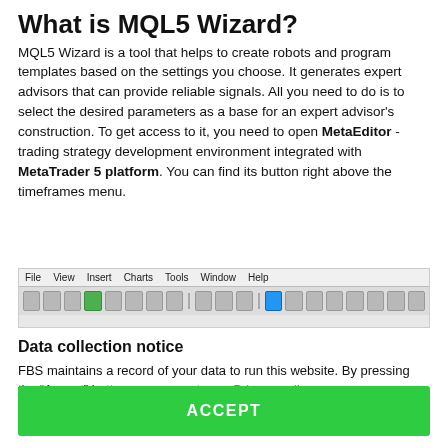What is MQL5 Wizard?
MQL5 Wizard is a tool that helps to create robots and program templates based on the settings you choose. It generates expert advisors that can provide reliable signals. All you need to do is to select the desired parameters as a base for an expert advisor's construction. To get access to it, you need to open MetaEditor - trading strategy development environment integrated with MetaTrader 5 platform. You can find its button right above the timeframes menu.
[Figure (screenshot): Screenshot of MetaEditor toolbar showing File, View, Insert, Charts, Tools, Window, Help menu and toolbar buttons]
Data collection notice
FBS maintains a record of your data to run this website. By pressing the “Accept” button, you agree to our Privacy policy.